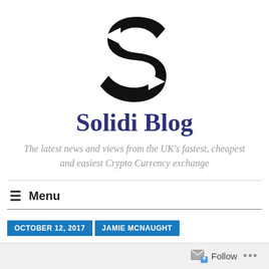[Figure (logo): Solidi Blog logo: a stylized letter S made of two arrows pointing left and right in black]
Solidi Blog
The latest news and views from the UK's fastest, cheapest and easiest Crypto Currency exchange
≡  Menu
OCTOBER 12, 2017   JAMIE MCNAUGHT